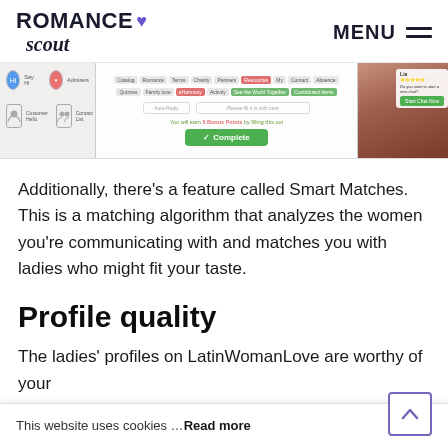ROMANCE scout  MENU
[Figure (screenshot): Screenshot of LatinWomanLove website interface showing navigation menu, profile completion area with a green Complete button, and a woman's profile photo on the right side]
Additionally, there's a feature called Smart Matches. This is a matching algorithm that analyzes the women you're communicating with and matches you with ladies who might fit your taste.
Profile quality
The ladies' profiles on LatinWomanLove are worthy of your reative, and e xpect from a woman the moment you click on her profile. Usually, the
This website uses cookies … Read more